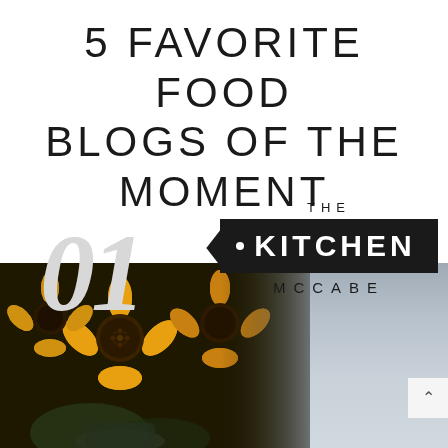5 FAVORITE FOOD BLOGS OF THE MOMENT
01
[Figure (logo): The Kitchen McCabe blog logo: word THE above a dark rectangular badge with a bullet point and KITCHEN in white bold letters, MCCABE below in spaced uppercase]
[Figure (photo): Photo of sunflowers in a vase on the left side, blending into a grey gradient background on the right]